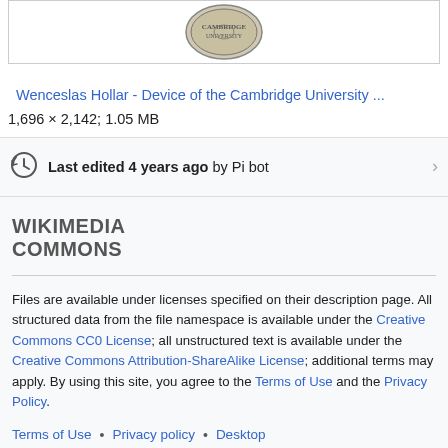[Figure (photo): Partial view of a coin/seal image for Wenceslas Hollar - Device of the Cambridge University]
Wenceslas Hollar - Device of the Cambridge University ...
1,696 × 2,142; 1.05 MB
Last edited 4 years ago by Pi bot
WIKIMEDIA COMMONS
Files are available under licenses specified on their description page. All structured data from the file namespace is available under the Creative Commons CC0 License; all unstructured text is available under the Creative Commons Attribution-ShareAlike License; additional terms may apply. By using this site, you agree to the Terms of Use and the Privacy Policy.
Terms of Use • Privacy policy • Desktop